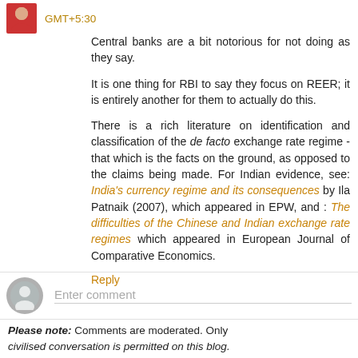GMT+5:30
Central banks are a bit notorious for not doing as they say.
It is one thing for RBI to say they focus on REER; it is entirely another for them to actually do this.
There is a rich literature on identification and classification of the de facto exchange rate regime - that which is the facts on the ground, as opposed to the claims being made. For Indian evidence, see: India's currency regime and its consequences by Ila Patnaik (2007), which appeared in EPW, and : The difficulties of the Chinese and Indian exchange rate regimes which appeared in European Journal of Comparative Economics.
Reply
Enter comment
Please note: Comments are moderated. Only civilised conversation is permitted on this blog.